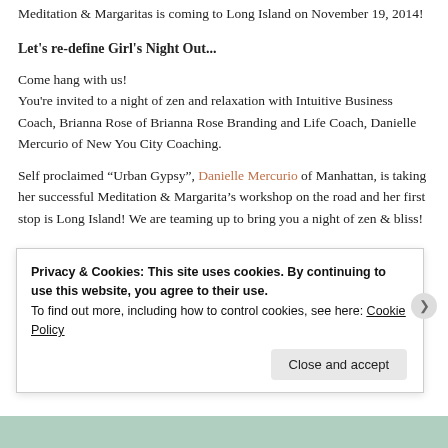Meditation & Margaritas is coming to Long Island on November 19, 2014!
Let's re-define Girl's Night Out...
Come hang with us!
You're invited to a night of zen and relaxation with Intuitive Business Coach, Brianna Rose of Brianna Rose Branding and Life Coach, Danielle Mercurio of New You City Coaching.
Self proclaimed “Urban Gypsy”, Danielle Mercurio of Manhattan, is taking her successful Meditation & Margarita’s workshop on the road and her first stop is Long Island! We are teaming up to bring you a night of zen & bliss!
Privacy & Cookies: This site uses cookies. By continuing to use this website, you agree to their use.
To find out more, including how to control cookies, see here: Cookie Policy
Close and accept